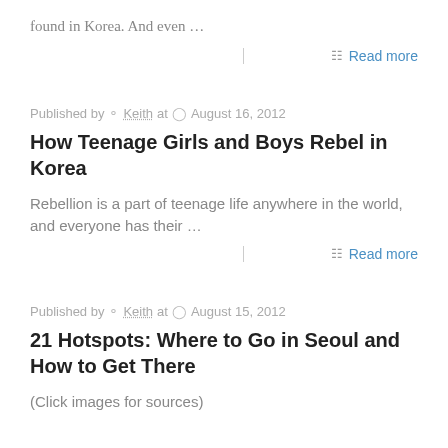found in Korea. And even …
Read more
Published by Keith at August 16, 2012
How Teenage Girls and Boys Rebel in Korea
Rebellion is a part of teenage life anywhere in the world, and everyone has their …
Read more
Published by Keith at August 15, 2012
21 Hotspots: Where to Go in Seoul and How to Get There
(Click images for sources)